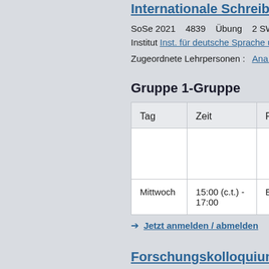Internationale Schreibpartnerschaften
SoSe 2021   4839   Übung   2 SWS   ECTS-Punkte
Institut Inst. für deutsche Sprache und Literatur
Zugeordnete Lehrpersonen :   Ana María Iglesias
Gruppe 1-Gruppe
| Tag | Zeit | Rhythmus | Dauer |
| --- | --- | --- | --- |
| Mittwoch | 15:00 (c.t.) -
17:00 | Einzeltermin | 21.04.20 |
→ Jetzt anmelden / abmelden
Forschungskolloquium IKK
SoSe 2021   4280   Kolloquium   Institut Inst. für
10 erwartet   15 maximal